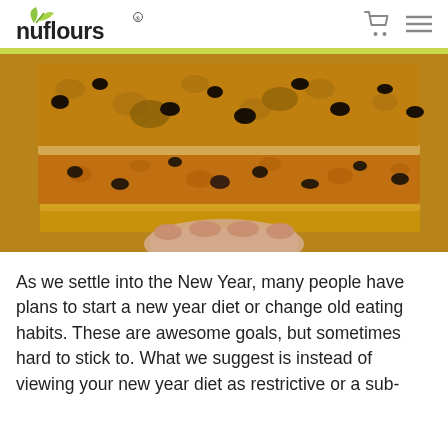nuflours
[Figure (photo): Close-up photograph of stacked chocolate chip cookie bars being held by a hand, showing the golden-brown texture and dark chocolate chunks inside the layers.]
As we settle into the New Year, many people have plans to start a new year diet or change old eating habits. These are awesome goals, but sometimes hard to stick to. What we suggest is instead of viewing your new year diet as restrictive or a sub-